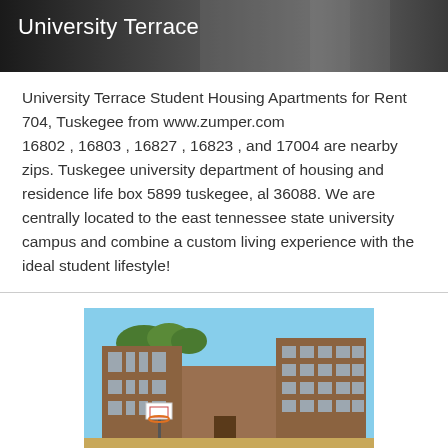[Figure (photo): Header image of University Terrace with text overlay on dark/grey background]
University Terrace
University Terrace Student Housing Apartments for Rent 704, Tuskegee from www.zumper.com
16802 , 16803 , 16827 , 16823 , and 17004 are nearby zips. Tuskegee university department of housing and residence life box 5899 tuskegee, al 36088. We are centrally located to the east tennessee state university campus and combine a custom living experience with the ideal student lifestyle!
[Figure (photo): Exterior photo of a multi-story brick university building with basketball hoop in foreground and blue sky background]